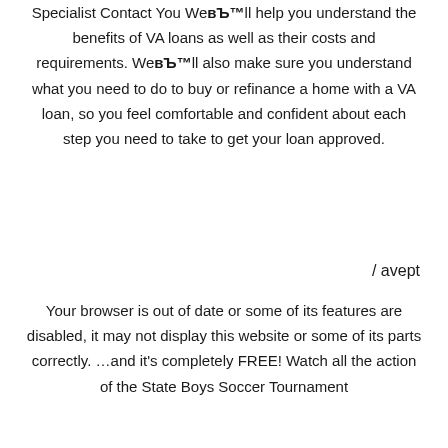Specialist Contact You Веll help you understand the benefits of VA loans as well as their costs and requirements. Weвъ™ll also make sure you understand what you need to do to buy or refinance a home with a VA loan, so you feel comfortable and confident about each step you need to take to get your loan approved.
/ avept
Your browser is out of date or some of its features are disabled, it may not display this website or some of its parts correctly. …and it's completely FREE! Watch all the action of the State Boys Soccer Tournament